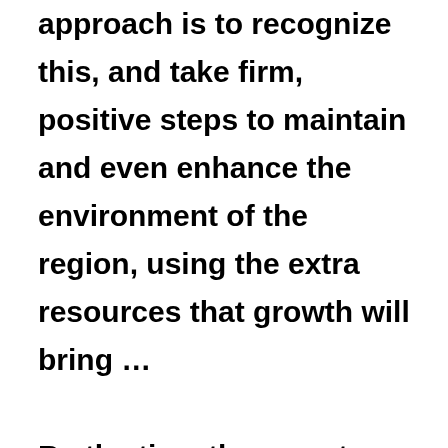approach is to recognize this, and take firm, positive steps to maintain and even enhance the environment of the region, using the extra resources that growth will bring … By the time the report was published, the people of East Anglia had already begun, as they had always done in earlier times, to face up to many of the problems which change and development brought their